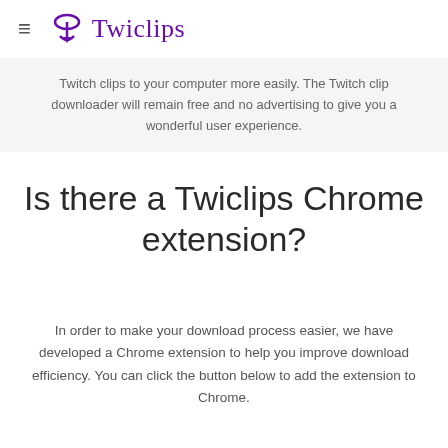≡ Twiclips
Twitch clips to your computer more easily. The Twitch clip downloader will remain free and no advertising to give you a wonderful user experience.
Is there a Twiclips Chrome extension?
In order to make your download process easier, we have developed a Chrome extension to help you improve download efficiency. You can click the button below to add the extension to Chrome.